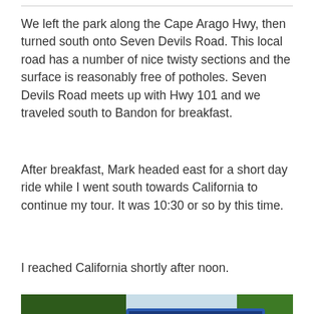We left the park along the Cape Arago Hwy, then turned south onto Seven Devils Road. This local road has a number of nice twisty sections and the surface is reasonably free of potholes. Seven Devils Road meets up with Hwy 101 and we traveled south to Bandon for breakfast.
After breakfast, Mark headed east for a short day ride while I went south towards California to continue my tour. It was 10:30 or so by this time.
I reached California shortly after noon.
[Figure (photo): Photo of a blue 'Welcome to California' state border sign surrounded by green trees, with sky visible in the background.]